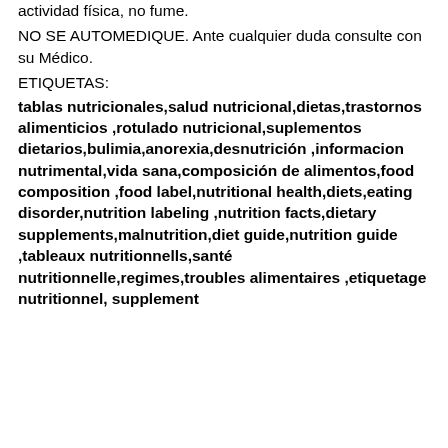actividad física, no fume.
NO SE AUTOMEDIQUE. Ante cualquier duda consulte con su Médico.
ETIQUETAS:
tablas nutricionales,salud nutricional,dietas,trastornos alimenticios ,rotulado nutricional,suplementos dietarios,bulimia,anorexia,desnutrición ,informacion nutrimental,vida sana,composición de alimentos,food composition ,food label,nutritional health,diets,eating disorder,nutrition labeling ,nutrition facts,dietary supplements,malnutrition,diet guide,nutrition guide ,tableaux nutritionnells,santé nutritionnelle,regimes,troubles alimentaires ,etiquetage nutritionnel, supplement